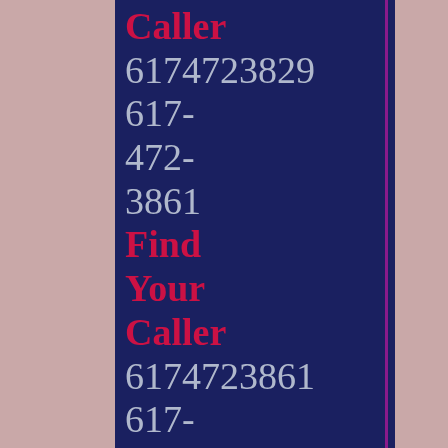Caller 6174723829 617- 472- 3861 Find Your Caller 6174723861 617- 472- 3802 Caller Finder 6174723802 617-